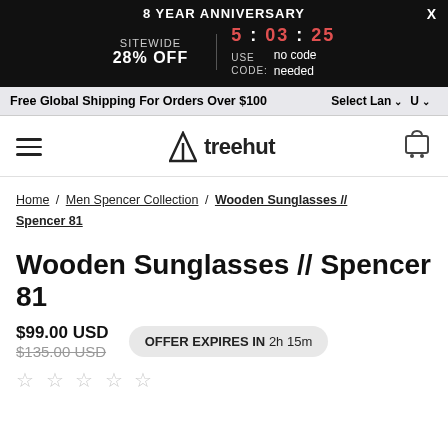8 YEAR ANNIVERSARY | SITEWIDE 28% OFF | 5 : 03 : 25 | USE CODE: no code needed
Free Global Shipping For Orders Over $100  Select Lan  U
[Figure (logo): Treehut logo with triangle/mountain icon and text 'treehut']
Home / Men Spencer Collection / Wooden Sunglasses // Spencer 81
Wooden Sunglasses // Spencer 81
$99.00 USD  $135.00 USD  OFFER EXPIRES IN 2h 15m
☆☆☆☆☆